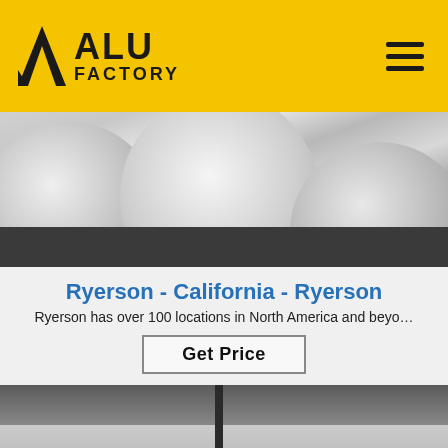ALU FACTORY
[Figure (photo): Close-up photo of large aluminum discs or rolled aluminum billets, showing shiny circular cross-sections against a dark background]
Ryerson - California - Ryerson
Ryerson has over 100 locations in North America and beyo…
Get Price
[Figure (photo): Industrial photo of aluminum sheets being measured or cut in a factory setting, with a measuring gauge tool visible and a TOP icon in the lower right corner]